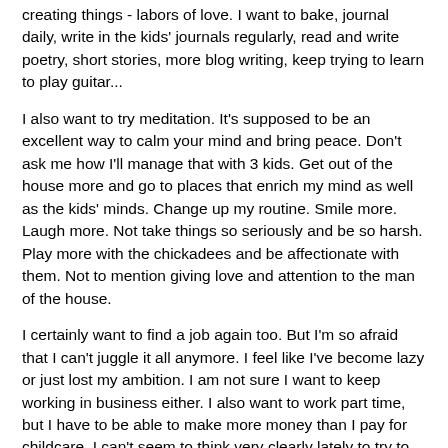creating things - labors of love. I want to bake, journal daily, write in the kids' journals regularly, read and write poetry, short stories, more blog writing, keep trying to learn to play guitar...
I also want to try meditation. It's supposed to be an excellent way to calm your mind and bring peace. Don't ask me how I'll manage that with 3 kids. Get out of the house more and go to places that enrich my mind as well as the kids' minds. Change up my routine. Smile more. Laugh more. Not take things so seriously and be so harsh. Play more with the chickadees and be affectionate with them. Not to mention giving love and attention to the man of the house.
I certainly want to find a job again too. But I'm so afraid that I can't juggle it all anymore. I feel like I've become lazy or just lost my ambition. I am not sure I want to keep working in business either. I also want to work part time, but I have to be able to make more money than I pay for childcare. I can't seem to think very clearly lately to try to get a good picture in my head how to make it work. Right now, I really appreciate having the unemployment checks coming in. I think we could